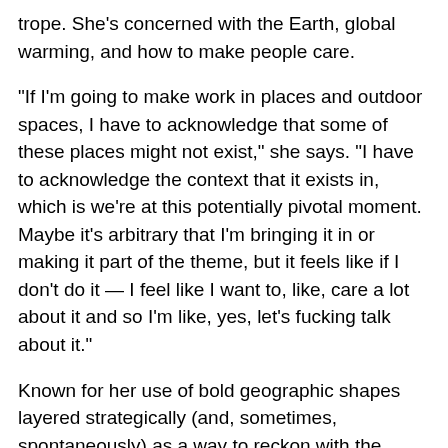trope. She's concerned with the Earth, global warming, and how to make people care.
"If I'm going to make work in places and outdoor spaces, I have to acknowledge that some of these places might not exist," she says. "I have to acknowledge the context that it exists in, which is we're at this potentially pivotal moment. Maybe it's arbitrary that I'm bringing it in or making it part of the theme, but it feels like if I don't do it — I feel like I want to, like, care a lot about it and so I'm like, yes, let's fucking talk about it."
Known for her use of bold geographic shapes layered strategically (and, sometimes, spontaneously) as a way to reckon with the variants between control and chaos, as well as her bold color palette, Rutt's style is instantly recognizable in and around Detroit.
For Rutt, a personal history and collective memory are the...